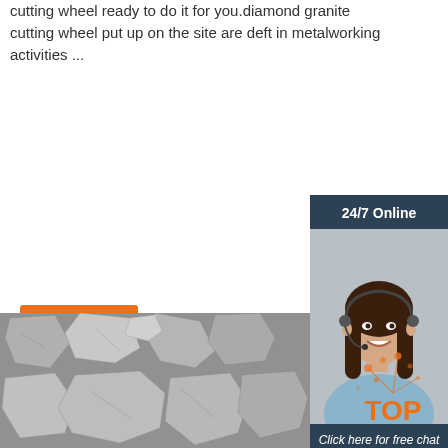cutting wheel ready to do it for you.diamond granite cutting wheel put up on the site are deft in metalworking activities ...
[Figure (other): Orange 'Get Price' button]
[Figure (other): Sidebar widget with '24/7 Online' header, customer service agent photo, 'Click here for free chat!' text, and orange QUOTATION button]
[Figure (photo): Grayscale electron microscope image of diamond/mineral grit particles]
[Figure (logo): TOP badge logo with orange dots]